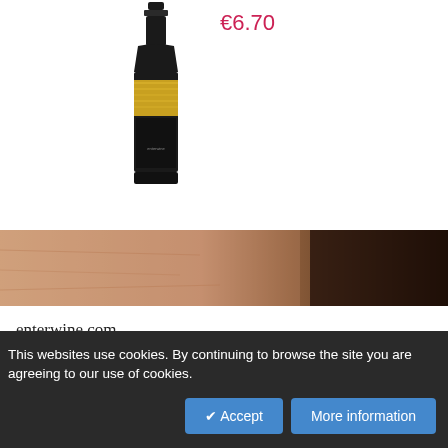[Figure (photo): Dark wine bottle with gold label band on white background]
€6.70
[Figure (photo): Decorative horizontal banner showing stone/earth texture in peach and dark brown tones]
enterwine.com
Information
This websites use cookies. By continuing to browse the site you are agreeing to our use of cookies.
✔ Accept
More information